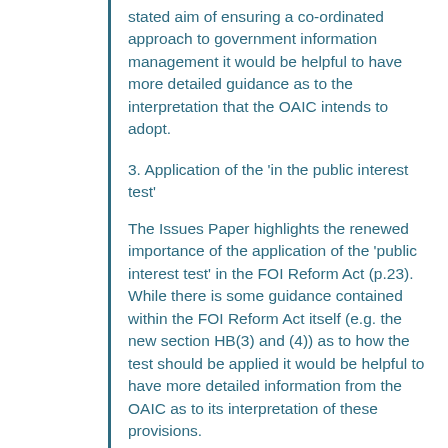stated aim of ensuring a co-ordinated approach to government information management it would be helpful to have more detailed guidance as to the interpretation that the OAIC intends to adopt.
3. Application of the 'in the public interest test'
The Issues Paper highlights the renewed importance of the application of the 'public interest test' in the FOI Reform Act (p.23). While there is some guidance contained within the FOI Reform Act itself (e.g. the new section HB(3) and (4)) as to how the test should be applied it would be helpful to have more detailed information from the OAIC as to its interpretation of these provisions.
4. Draft principle 2 - Effective information governance
The second of the Draft Principles on Open Public